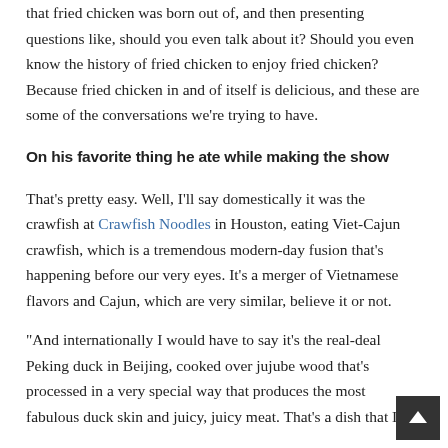that fried chicken was born out of, and then presenting questions like, should you even talk about it? Should you even know the history of fried chicken to enjoy fried chicken? Because fried chicken in and of itself is delicious, and these are some of the conversations we're trying to have.
On his favorite thing he ate while making the show
That's pretty easy. Well, I'll say domestically it was the crawfish at Crawfish Noodles in Houston, eating Viet-Cajun crawfish, which is a tremendous modern-day fusion that's happening before our very eyes. It's a merger of Vietnamese flavors and Cajun, which are very similar, believe it or not.
“And internationally I would have to say it’s the real-deal Peking duck in Beijing, cooked over jujube wood that’s processed in a very special way that produces the most fabulous duck skin and juicy, juicy meat. That’s a dish that I